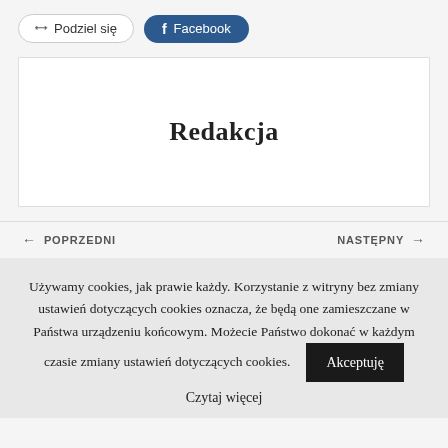[Figure (other): Share buttons: 'Podziel się' (rounded outline button with share icon) and 'Facebook' (blue rounded button with Facebook icon)]
Redakcja
← POPRZEDNI    NASTĘPNY →
Używamy cookies, jak prawie każdy. Korzystanie z witryny bez zmiany ustawień dotyczących cookies oznacza, że będą one zamieszczane w Państwa urządzeniu końcowym. Możecie Państwo dokonać w każdym czasie zmiany ustawień dotyczących cookies.
Akceptuję
Czytaj więcej